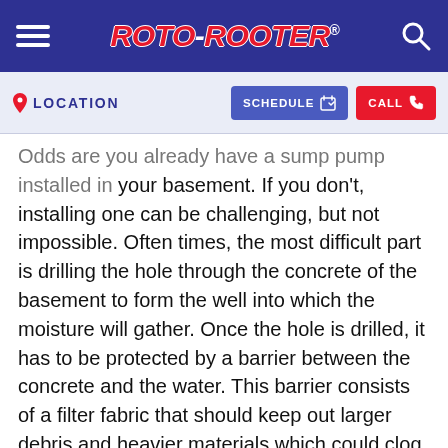ROTO-ROOTER
LOCATION  SCHEDULE  CALL
Odds are you already have a sump pump installed in your basement. If you don't, installing one can be challenging, but not impossible. Often times, the most difficult part is drilling the hole through the concrete of the basement to form the well into which the moisture will gather. Once the hole is drilled, it has to be protected by a barrier between the concrete and the water. This barrier consists of a filter fabric that should keep out larger debris and heavier materials which could clog the pump.
The pump should be installed at the lowest point in the foundation so that water will naturally gravitate toward the well. Once you have the hole deep enough to set the basin flush with the basement floor, wrap the sump